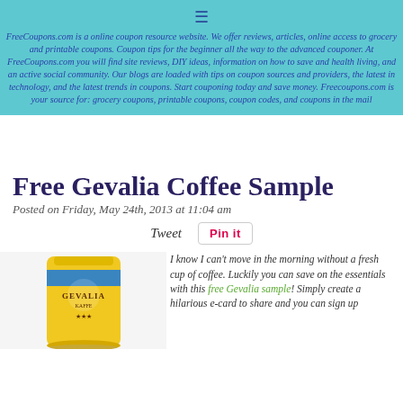FreeCoupons.com is a online coupon resource website. We offer reviews, articles, online access to grocery and printable coupons. Coupon tips for the beginner all the way to the advanced couponer. At FreeCoupons.com you will find site reviews, DIY ideas, information on how to save and health living, and an active social community. Our blogs are loaded with tips on coupon sources and providers, the latest in technology, and the latest trends in coupons. Start couponing today and save money. Freecoupons.com is your source for: grocery coupons, printable coupons, coupon codes, and coupons in the mail
Free Gevalia Coffee Sample
Posted on Friday, May 24th, 2013 at 11:04 am
Tweet  Pin it
[Figure (photo): Yellow bag of Gevalia Kaffe coffee]
I know I can't move in the morning without a fresh cup of coffee. Luckily you can save on the essentials with this free Gevalia sample! Simply create a hilarious e-card to share and you can sign up